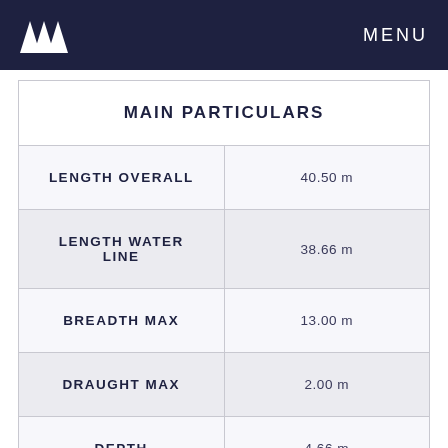MENU
|  |  |
| --- | --- |
| MAIN PARTICULARS |  |
| LENGTH OVERALL | 40.50 m |
| LENGTH WATER LINE | 38.66 m |
| BREADTH MAX | 13.00 m |
| DRAUGHT MAX | 2.00 m |
| DEPTH | 4.66 m |